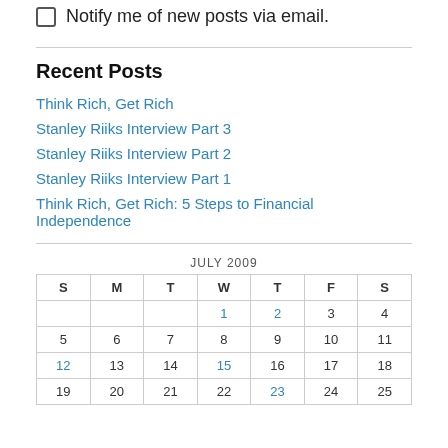Notify me of new posts via email.
Recent Posts
Think Rich, Get Rich
Stanley Riiks Interview Part 3
Stanley Riiks Interview Part 2
Stanley Riiks Interview Part 1
Think Rich, Get Rich: 5 Steps to Financial Independence
| S | M | T | W | T | F | S |
| --- | --- | --- | --- | --- | --- | --- |
|  |  |  | 1 | 2 | 3 | 4 |
| 5 | 6 | 7 | 8 | 9 | 10 | 11 |
| 12 | 13 | 14 | 15 | 16 | 17 | 18 |
| 19 | 20 | 21 | 22 | 23 | 24 | 25 |